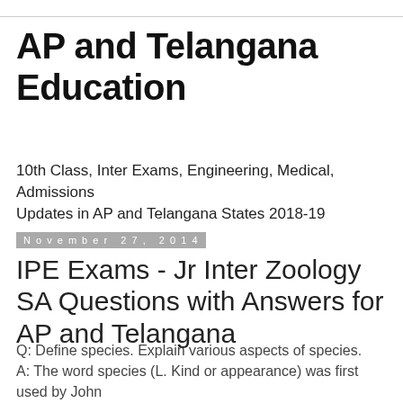AP and Telangana Education
10th Class, Inter Exams, Engineering, Medical, Admissions Updates in AP and Telangana States 2018-19
November 27, 2014
IPE Exams - Jr Inter Zoology SA Questions with Answers for AP and Telangana
Q: Define species. Explain various aspects of species.
A: The word species (L. Kind or appearance) was first used by John
Ray. It is the basic unit of classification. A species is an interbreeding group of similar organisms sharing the common gene pool